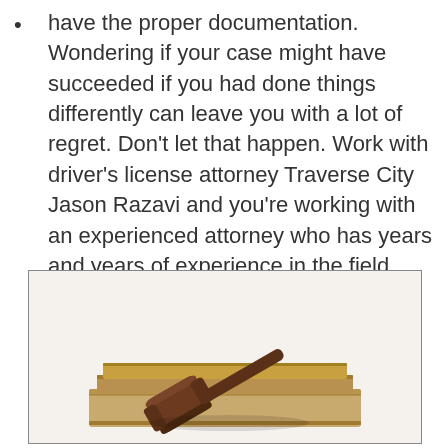have the proper documentation. Wondering if your case might have succeeded if you had done things differently can leave you with a lot of regret. Don't let that happen. Work with driver's license attorney Traverse City Jason Razavi and you're working with an experienced attorney who has years and years of experience in the field.
[Figure (photo): A wooden judge's gavel resting on top of a stack of old law books, photographed on a white background.]